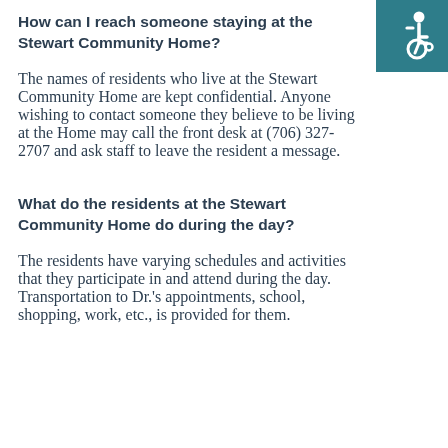[Figure (illustration): Wheelchair accessibility icon (white figure on teal/dark cyan background) in the top-right corner]
How can I reach someone staying at the Stewart Community Home?
The names of residents who live at the Stewart Community Home are kept confidential. Anyone wishing to contact someone they believe to be living at the Home may call the front desk at (706) 327-2707 and ask staff to leave the resident a message.
What do the residents at the Stewart Community Home do during the day?
The residents have varying schedules and activities that they participate in and attend during the day. Transportation to Dr.'s appointments, school, shopping, work, etc., is provided for them.